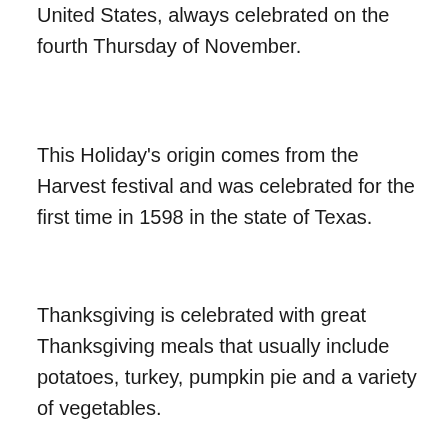United States, always celebrated on the fourth Thursday of November.
This Holiday's origin comes from the Harvest festival and was celebrated for the first time in 1598 in the state of Texas.
Thanksgiving is celebrated with great Thanksgiving meals that usually include potatoes, turkey, pumpkin pie and a variety of vegetables.